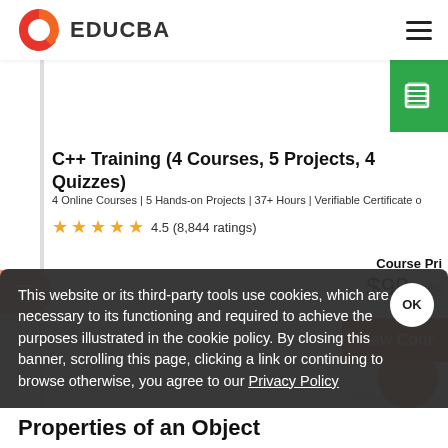EDUCBA
[Figure (logo): EDUCBA logo with red/orange play-button icon and EDUCBA text]
C++ Training (4 Courses, 5 Projects, 4 Quizzes)
4 Online Courses | 5 Hands-on Projects | 37+ Hours | Verifiable Certificate o...
4.5 (8,844 ratings)
Course Pri...
$99 $49...
View Cour...
This website or its third-party tools use cookies, which are necessary to its functioning and required to achieve the purposes illustrated in the cookie policy. By closing this banner, scrolling this page, clicking a link or continuing to browse otherwise, you agree to our Privacy Policy
Properties of an Object